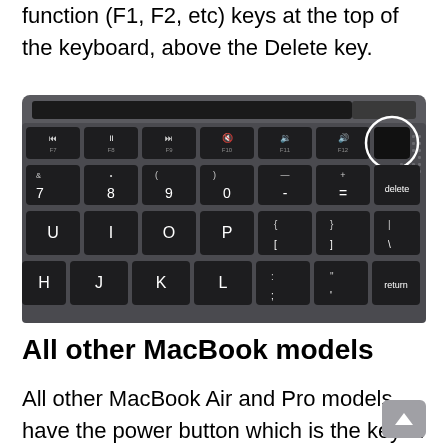function (F1, F2, etc) keys at the top of the keyboard, above the Delete key.
[Figure (photo): Close-up photo of a MacBook keyboard showing the top-right section with function keys (F7-F12), number keys (7-0, delete), letter keys (U, I, O, P, H, J, K, L) and punctuation keys. A white circle highlights the Touch ID / power button in the upper right corner next to F12.]
All other MacBook models
All other MacBook Air and Pro models have the power button which is the key in the upper right